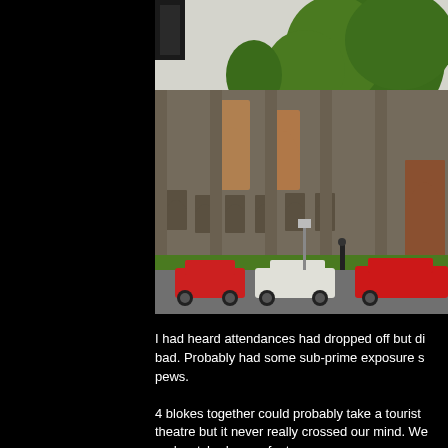[Figure (photo): Exterior of a gothic-style stone church building with pointed arched windows and doorways, boarded up. Several cars parked in front including a red car on left, white sedan in center, and red car on right. Trees line the front of the building.]
I had heard attendances had dropped off but di bad. Probably had some sub-prime exposure s pews.
4 blokes together could probably take a tourist theatre but it never really crossed our mind. We and watched some footy.